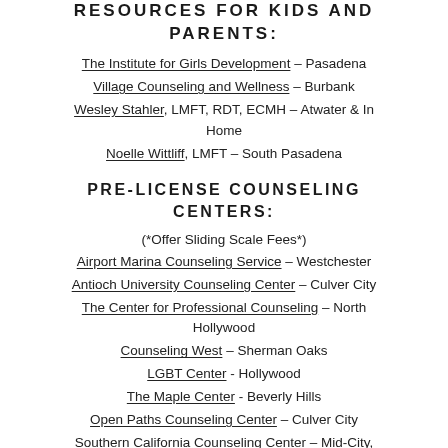RESOURCES FOR KIDS AND PARENTS:
The Institute for Girls Development – Pasadena
Village Counseling and Wellness – Burbank
Wesley Stahler, LMFT, RDT, ECMH – Atwater & In Home
Noelle Wittliff, LMFT – South Pasadena
PRE-LICENSE COUNSELING CENTERS:
(*Offer Sliding Scale Fees*)
Airport Marina Counseling Service – Westchester
Antioch University Counseling Center – Culver City
The Center for Professional Counseling – North Hollywood
Counseling West – Sherman Oaks
LGBT Center - Hollywood
The Maple Center - Beverly Hills
Open Paths Counseling Center – Culver City
Southern California Counseling Center – Mid-City, Watts, Koreatown
Valley Community Counseling Clinic – North Hollywood